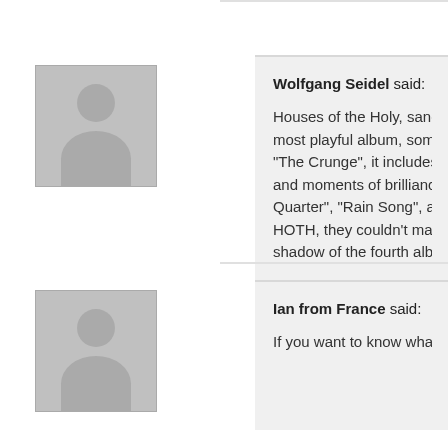Wolfgang Seidel said: Houses of the Holy, sandwiched between most playful album, sometimes a bit lig "The Crunge", it includes their(in my hu and moments of brilliance "The Song R Quarter", "Rain Song", and "Over The H HOTH, they couldn't make "Physical Gr shadow of the fourth album and "Physic
[Figure (illustration): Generic user avatar placeholder (grey silhouette of person on grey background) for Wolfgang Seidel]
Ian from France said: If you want to know what joy sounds lik
[Figure (illustration): Generic user avatar placeholder (grey silhouette of person on grey background) for Ian from France]